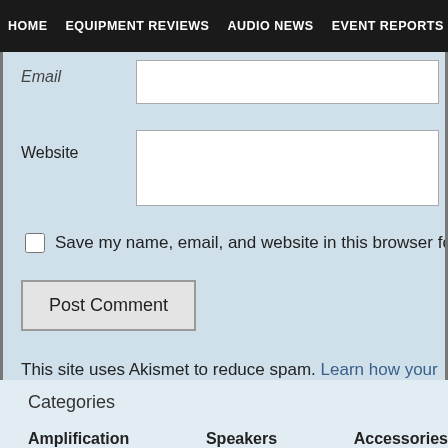HOME  EQUIPMENT REVIEWS  AUDIO NEWS  EVENT REPORTS  S
Email
Website
Save my name, email, and website in this browser for the ne
Post Comment
This site uses Akismet to reduce spam. Learn how your comme
Categories
Amplification  Speakers  Accessories